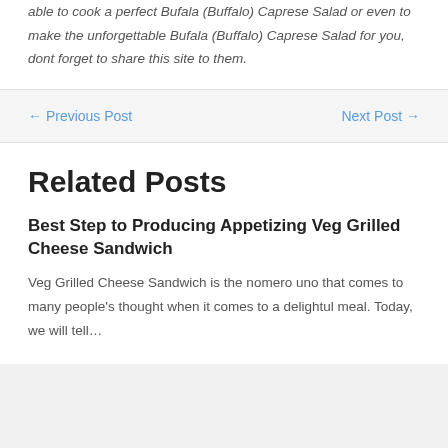able to cook a perfect Bufala (Buffalo) Caprese Salad or even to make the unforgettable Bufala (Buffalo) Caprese Salad for you, dont forget to share this site to them.
← Previous Post
Next Post →
Related Posts
Best Step to Producing Appetizing Veg Grilled Cheese Sandwich
Veg Grilled Cheese Sandwich is the nomero uno that comes to many people's thought when it comes to a delightul meal. Today, we will tell…